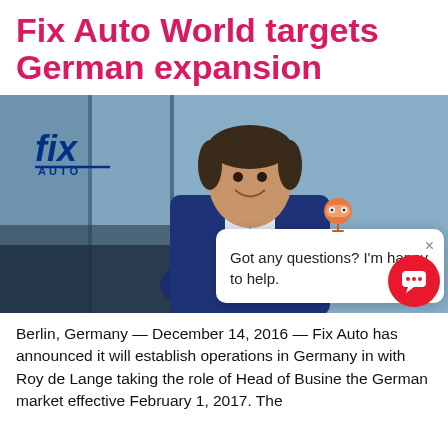Fix Auto World targets German expansion
[Figure (photo): Professional man in blue suit smiling, with Fix Auto logo visible on glass building in background. Overlaid chat widget popup says 'Got any questions? I'm happy to help.' with a character icon and X close button. Red circular chat button in lower right.]
Berlin, Germany — December 14, 2016 — Fix Auto has announced it will establish operations in Germany in with Roy de Lange taking the role of Head of Busine the German market effective February 1, 2017. The